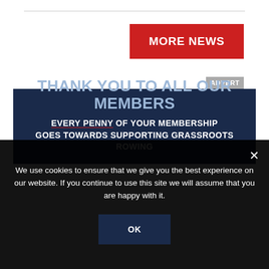[Figure (other): Red button labeled MORE NEWS]
ADVERT
[Figure (infographic): Dark navy blue banner reading: THANK YOU TO ALL OUR MEMBERS / EVERY PENNY OF YOUR MEMBERSHIP GOES TOWARDS SUPPORTING GRASSROOTS ROWING]
We use cookies to ensure that we give you the best experience on our website. If you continue to use this site we will assume that you are happy with it.
OK